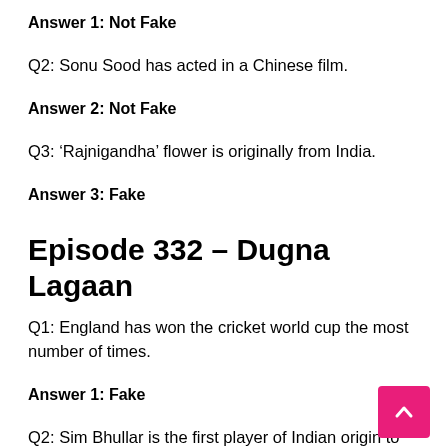Answer 1: Not Fake
Q2: Sonu Sood has acted in a Chinese film.
Answer 2: Not Fake
Q3: ‘Rajnigandha’ flower is originally from India.
Answer 3: Fake
Episode 332 – Dugna Lagaan
Q1: England has won the cricket world cup the most number of times.
Answer 1: Fake
Q2: Sim Bhullar is the first player of Indian origin to play in